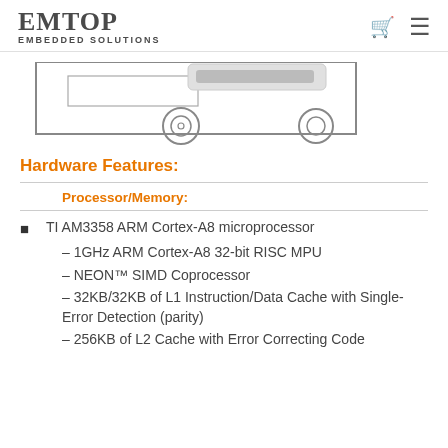EMTOP EMBEDDED SOLUTIONS
[Figure (engineering-diagram): Partial mechanical/connector diagram showing a rectangular outline with two circular connectors at the bottom]
Hardware Features:
Processor/Memory:
TI AM3358 ARM Cortex-A8 microprocessor
– 1GHz ARM Cortex-A8 32-bit RISC MPU
– NEON™ SIMD Coprocessor
– 32KB/32KB of L1 Instruction/Data Cache with Single-Error Detection (parity)
– 256KB of L2 Cache with Error Correcting Code